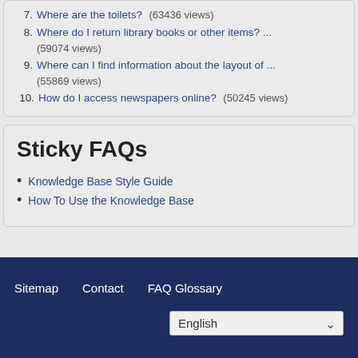7. Where are the toilets? (63436 views)
8. Where do I return library books or other items? ... (59074 views)
9. Where can I find information about the layout of ... (55869 views)
10. How do I access newspapers online? (50245 views)
Sticky FAQs
Knowledge Base Style Guide
How To Use the Knowledge Base
Sitemap   Contact   FAQ Glossary   English